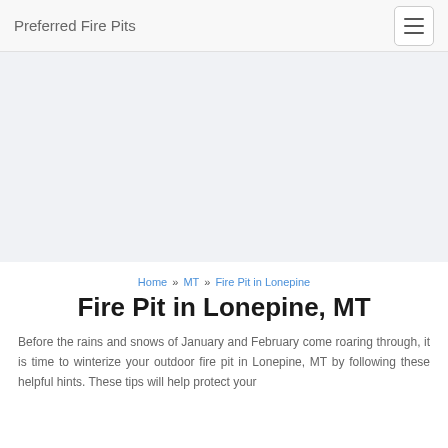Preferred Fire Pits
[Figure (other): Advertisement banner area with light gray background]
Home » MT » Fire Pit in Lonepine
Fire Pit in Lonepine, MT
Before the rains and snows of January and February come roaring through, it is time to winterize your outdoor fire pit in Lonepine, MT by following these helpful hints. These tips will help protect your